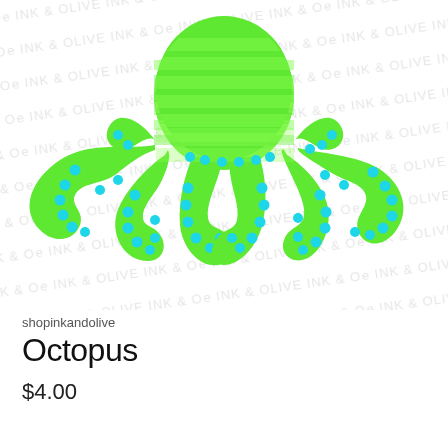[Figure (illustration): Green cartoon octopus illustration with cyan/turquoise circular dots along its tentacles, horizontal stripes on the body. Background has a repeating diagonal watermark text 'INK & OLIVE' in light gray.]
shopinkandolive
Octopus
$4.00